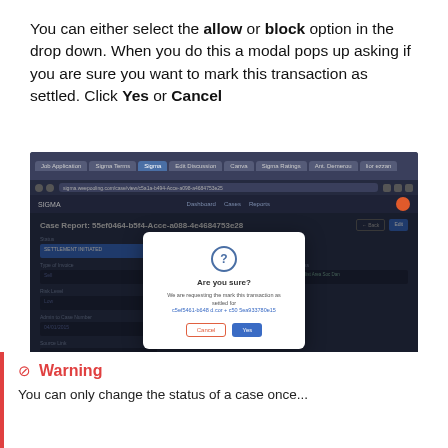You can either select the allow or block option in the drop down. When you do this a modal pops up asking if you are sure you want to mark this transaction as settled. Click Yes or Cancel
[Figure (screenshot): Screenshot of a web application showing a Case Report page with a modal dialog box asking 'Are you sure?' with Cancel and Yes buttons, on a dark navy background.]
Warning
You can only change the status of a case once...